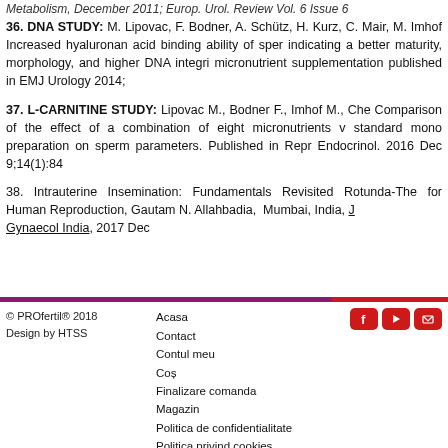Metabolism, December 2011; Europ. Urol. Review Vol. 6 Issue 6
36. DNA STUDY: M. Lipovac, F. Bodner, A. Schütz, H. Kurz, C. Mair, M. Imhof Increased hyaluronan acid binding ability of sperm indicating a better maturity, morphology, and higher DNA integrity micronutrient supplementation published in EMJ Urology 2014;
37. L-CARNITINE STUDY: Lipovac M., Bodner F., Imhof M., Che... Comparison of the effect of a combination of eight micronutrients with standard mono preparation on sperm parameters. Published in Reprod. Endocrinol. 2016 Dec 9;14(1):84
38. Intrauterine Insemination: Fundamentals Revisited Rotunda-The for Human Reproduction, Gautam N. Allahbadia, Mumbai, India, J Gynaecol India, 2017 Dec
© PROfertil® 2018 Design by HTSS | Acasa | Contact | Contul meu | Coș | Finalizare comanda | Magazin | Politica de confidentialitate | Politica privind cookies